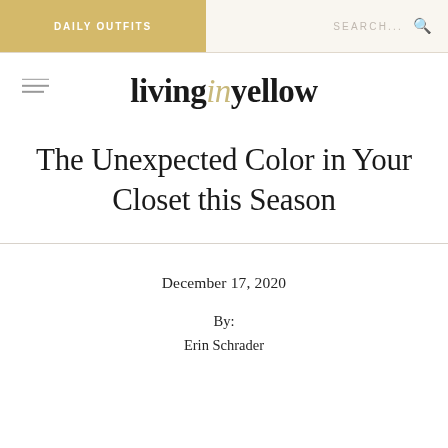DAILY OUTFITS | SEARCH...
livinginyellow
The Unexpected Color in Your Closet this Season
December 17, 2020
By:
Erin Schrader